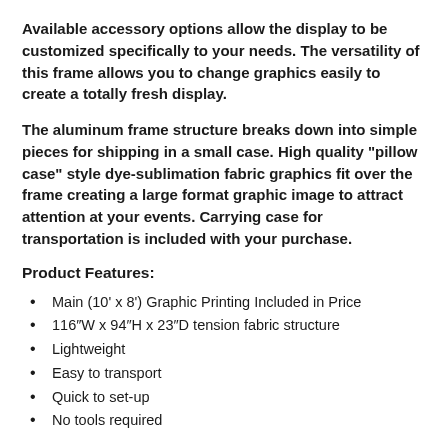Available accessory options allow the display to be customized specifically to your needs. The versatility of this frame allows you to change graphics easily to create a totally fresh display.
The aluminum frame structure breaks down into simple pieces for shipping in a small case. High quality "pillow case" style dye-sublimation fabric graphics fit over the frame creating a large format graphic image to attract attention at your events. Carrying case for transportation is included with your purchase.
Product Features:
Main (10' x 8') Graphic Printing Included in Price
116″W x 94″H x 23″D tension fabric structure
Lightweight
Easy to transport
Quick to set-up
No tools required